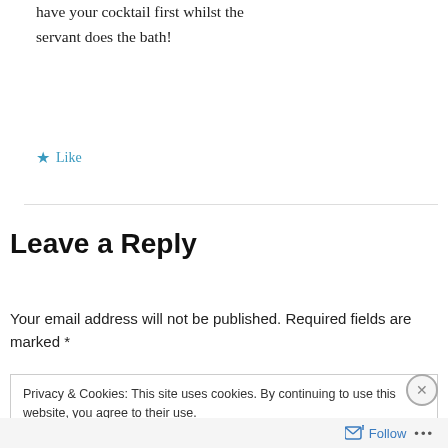have your cocktail first whilst the servant does the bath!
★ Like
Leave a Reply
Your email address will not be published. Required fields are marked *
Privacy & Cookies: This site uses cookies. By continuing to use this website, you agree to their use.
To find out more, including how to control cookies, see here: Cookie Policy
Close and accept
Follow ...